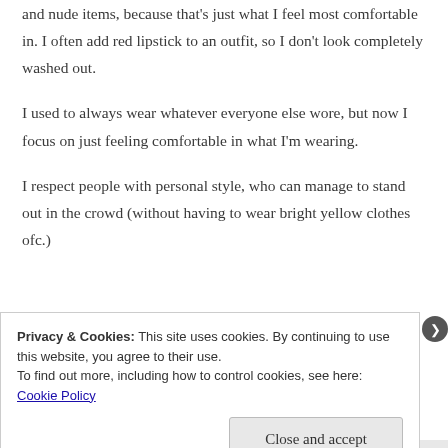and nude items, because that's just what I feel most comfortable in. I often add red lipstick to an outfit, so I don't look completely washed out.
I used to always wear whatever everyone else wore, but now I focus on just feeling comfortable in what I'm wearing.
I respect people with personal style, who can manage to stand out in the crowd (without having to wear bright yellow clothes ofc.)
Privacy & Cookies: This site uses cookies. By continuing to use this website, you agree to their use.
To find out more, including how to control cookies, see here: Cookie Policy
Close and accept